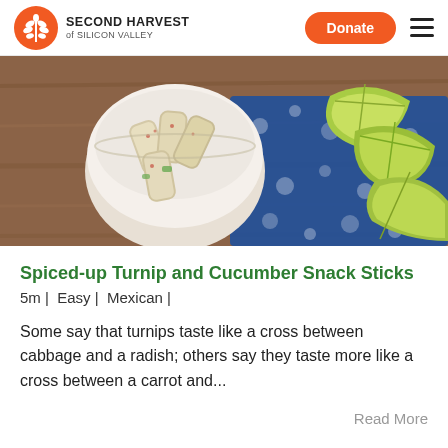SECOND HARVEST of SILICON VALLEY | Donate
[Figure (photo): Overhead shot of spiced turnip and cucumber snack sticks in a white bowl with lime wedges on a blue patterned cloth, on a wooden surface.]
Spiced-up Turnip and Cucumber Snack Sticks
5m |  Easy |  Mexican |
Some say that turnips taste like a cross between cabbage and a radish; others say they taste more like a cross between a carrot and...
Read More